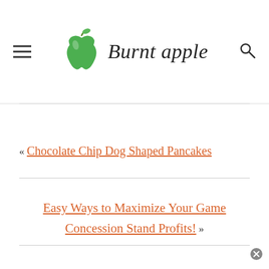Burnt apple
« Chocolate Chip Dog Shaped Pancakes
Easy Ways to Maximize Your Game Concession Stand Profits! »